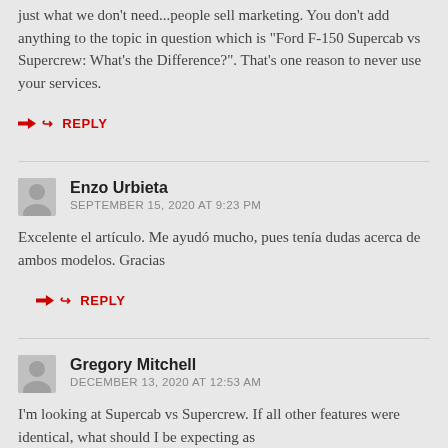just what we don't need...people sell marketing. You don't add anything to the topic in question which is "Ford F-150 Supercab vs Supercrew: What's the Difference?". That's one reason to never use your services.
↪ REPLY
Enzo Urbieta
SEPTEMBER 15, 2020 AT 9:23 PM
Excelente el artículo. Me ayudó mucho, pues tenía dudas acerca de ambos modelos. Gracias
↪ REPLY
Gregory Mitchell
DECEMBER 13, 2020 AT 12:53 AM
I'm looking at Supercab vs Supercrew. If all other features were identical, what should I be expecting as